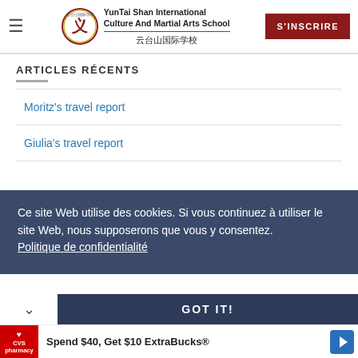YunTai Shan International Culture And Martial Arts School 云台山国际学校
ARTICLES RÉCENTS
Moritz's travel report
Giulia's travel report
Ce site Web utilise des cookies. Si vous continuez à utiliser le site Web, nous supposerons que vous y consentez. Politique de confidentialité
GOT IT!
Spend $40, Get $10 ExtraBucks®